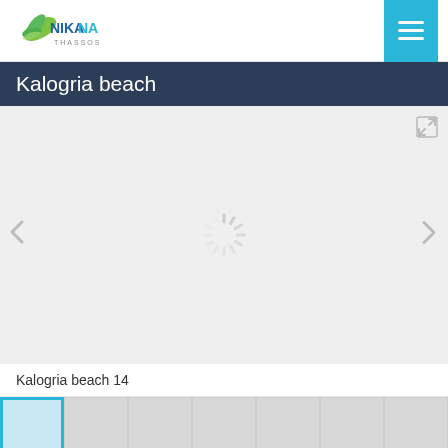[Figure (logo): Nikana Thassos logo with green leaf/bird graphic and blue text]
Kalogria beach
[Figure (photo): Photo gallery viewer showing loading spinner with expand, previous, and next controls for Kalogria beach images]
Kalogria beach 14
[Figure (photo): Thumbnail strip showing 7 photo thumbnails, first one highlighted with cyan border]